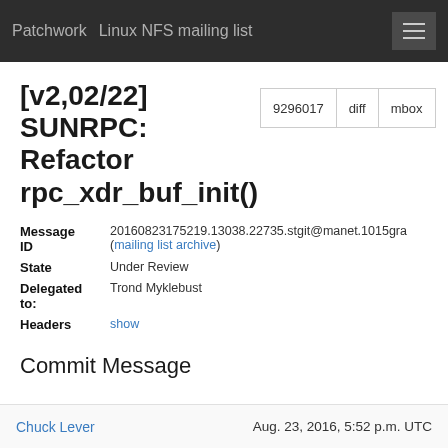Patchwork  Linux NFS mailing list
[v2,02/22] SUNRPC: Refactor rpc_xdr_buf_init()
| Message ID | 20160823175219.13038.22735.stgit@manet.1015gra (mailing list archive) |
| State | Under Review |
| Delegated to: | Trond Myklebust |
| Headers | show |
Commit Message
Chuck Lever    Aug. 23, 2016, 5:52 p.m. UTC